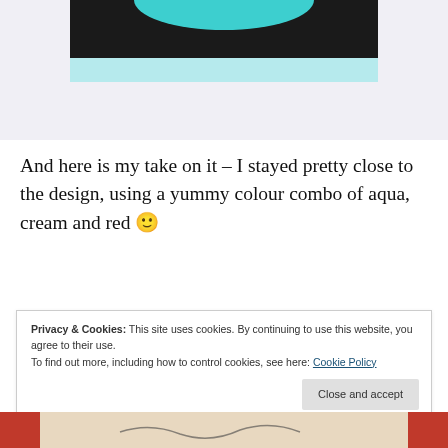[Figure (illustration): Top portion of a craft/design image showing aqua, black, and light blue color bands — partial view of a circular or decorated item against a black background with a light blue/gray strip below]
And here is my take on it – I stayed pretty close to the design, using a yummy colour combo of aqua, cream and red 🙂
[Figure (screenshot): Advertisement banner for Day One app — blue background with phone mockup on the left, white text 'Your Journal for life' in the center, bookmark icon and 'DAYONE' text on the right]
REPORT THIS AD
Privacy & Cookies: This site uses cookies. By continuing to use this website, you agree to their use.
To find out more, including how to control cookies, see here: Cookie Policy
Close and accept
[Figure (photo): Bottom edge of a crafted item photo — partial view showing a handmade project with red and white colors and handwritten text]